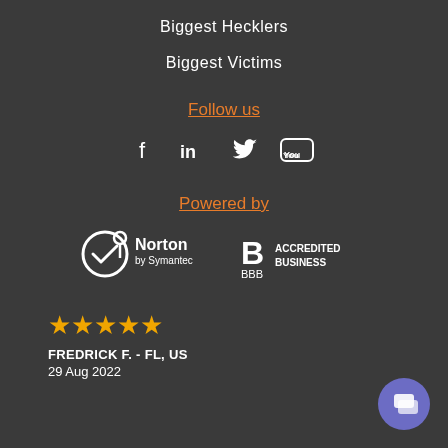Biggest Hecklers
Biggest Victims
Follow us
[Figure (other): Social media icons: Facebook, LinkedIn, Twitter, YouTube]
Powered by
[Figure (logo): Norton by Symantec logo and BBB Accredited Business logo]
[Figure (other): Five orange star rating]
FREDRICK F.  - FL, US
29 Aug 2022
[Figure (other): Purple circular chat bubble button in bottom right corner]